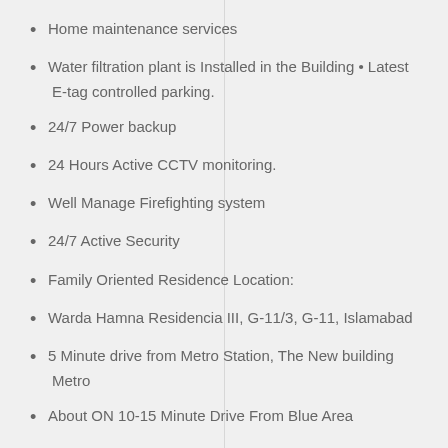Home maintenance services
Water filtration plant is Installed in the Building • Latest E-tag controlled parking.
24/7 Power backup
24 Hours Active CCTV monitoring.
Well Manage Firefighting system
24/7 Active Security
Family Oriented Residence Location:
Warda Hamna Residencia III, G-11/3, G-11, Islamabad
5 Minute drive from Metro Station, The New building Metro
About ON 10-15 Minute Drive From Blue Area
A convenient 10-13 from Centaurus Islamabad